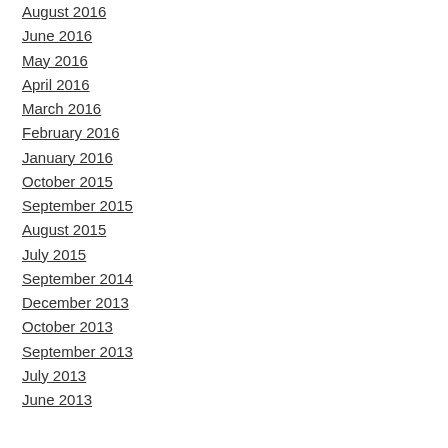August 2016
June 2016
May 2016
April 2016
March 2016
February 2016
January 2016
October 2015
September 2015
August 2015
July 2015
September 2014
December 2013
October 2013
September 2013
July 2013
June 2013